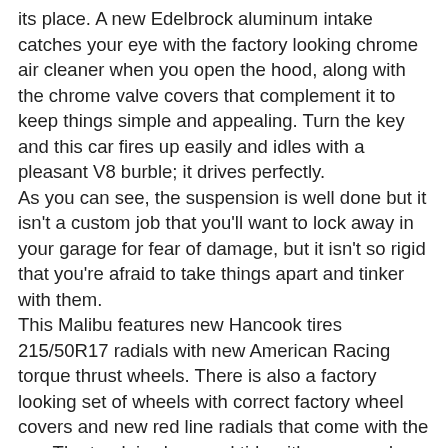its place. A new Edelbrock aluminum intake catches your eye with the factory looking chrome air cleaner when you open the hood, along with the chrome valve covers that complement it to keep things simple and appealing. Turn the key and this car fires up easily and idles with a pleasant V8 burble; it drives perfectly. As you can see, the suspension is well done but it isn't a custom job that you'll want to lock away in your garage for fear of damage, but it isn't so rigid that you're afraid to take things apart and tinker with them. This Malibu features new Hancook tires 215/50R17 radials with new American Racing torque thrust wheels. There is also a factory looking set of wheels with correct factory wheel covers and new red line radials that come with the car. The trunk is clean and tidy with a new red custom interior that you'll see in our pictures. Everything in this interior still looks nice and is 100% usable as-is for years of cruising and showing enjoyment. Not every car can be a flawless show winner, and that's a good thing because if that were the case, regular guys like me would have a hard time satisfying their old car addiction. This is a car you can spend a long time with, both in and out of the garage. It will always be ready, willing, and able to hit the road, but you can also spend your time tinkering with it and perfecting it exactly the